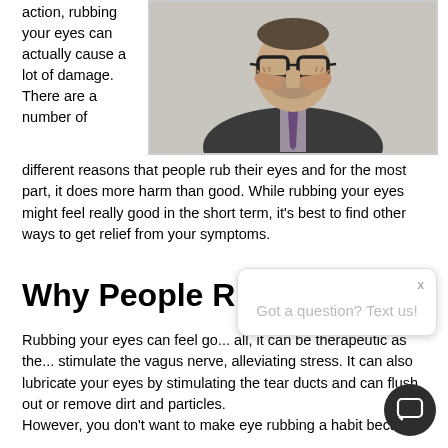action, rubbing your eyes can actually cause a lot of damage. There are a number of different reasons that people rub their eyes and for the most part, it does more harm than good. While rubbing your eyes might feel really good in the short term, it's best to find other ways to get relief from your symptoms.
[Figure (photo): A man in a suit and glasses rubbing his eyes with both hands pressed against the bridge of his nose]
Why People Ru
Rubbing your eyes can feel go... all, it can be therapeutic as the... stimulate the vagus nerve, alleviating stress. It can also lubricate your eyes by stimulating the tear ducts and can flush out or remove dirt and particles.
However, you don't want to make eye rubbing a habit because